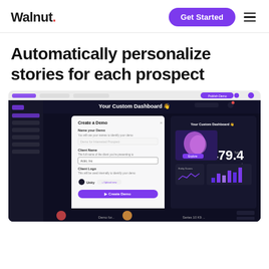Walnut. | Get Started
Automatically personalize stories for each prospect
[Figure (screenshot): Walnut app screenshot showing 'Your Custom Dashboard' with a 'Create a Demo' modal dialog overlay, including fields for Name your Demo, Client Name, Client Logo, and a Create Demo button. Behind the modal, the dashboard shows stats and charts with dark background UI.]